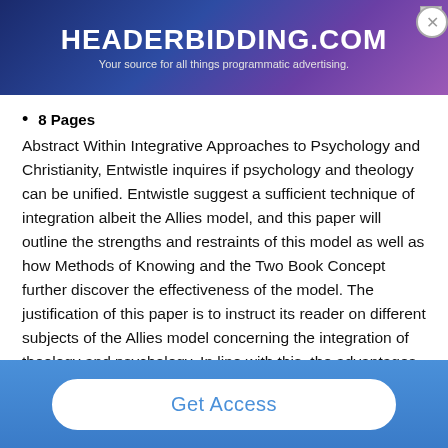[Figure (other): Advertisement banner for headerbidding.com with text 'HEADERBIDDING.COM' and subtitle 'Your source for all things programmatic advertising.' on a dark blue/purple gradient background.]
8 Pages
Abstract Within Integrative Approaches to Psychology and Christianity, Entwistle inquires if psychology and theology can be unified. Entwistle suggest a sufficient technique of integration albeit the Allies model, and this paper will outline the strengths and restraints of this model as well as how Methods of Knowing and the Two Book Concept further discover the effectiveness of the model. The justification of this paper is to instruct its reader on different subjects of the Allies model concerning the integration of theology and psychology. In line with this, the advantages and drawbacks are shown as well as how this